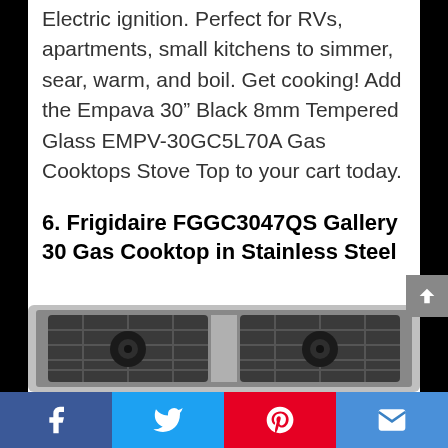Electric ignition. Perfect for RVs, apartments, small kitchens to simmer, sear, warm, and boil. Get cooking! Add the Empava 30” Black 8mm Tempered Glass EMPV-30GC5L70A Gas Cooktops Stove Top to your cart today.
6. Frigidaire FGGC3047QS Gallery 30 Gas Cooktop in Stainless Steel
[Figure (photo): Photo of the Frigidaire FGGC3047QS Gallery 30 Gas Cooktop in Stainless Steel, showing top-down view of stainless steel cooktop with black cast iron grates and two visible burners.]
Facebook | Twitter | Pinterest | Email (social share bar)